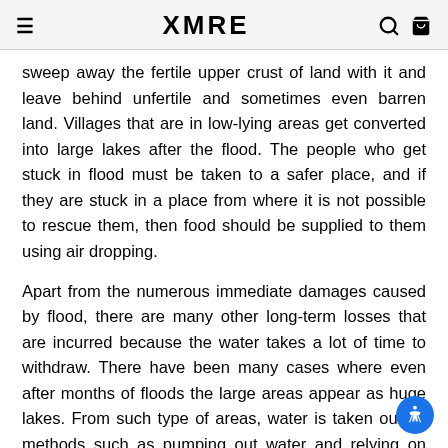XMRE
sweep away the fertile upper crust of land with it and leave behind unfertile and sometimes even barren land. Villages that are in low-lying areas get converted into large lakes after the flood. The people who get stuck in flood must be taken to a safer place, and if they are stuck in a place from where it is not possible to rescue them, then food should be supplied to them using air dropping.
Apart from the numerous immediate damages caused by flood, there are many other long-term losses that are incurred because the water takes a lot of time to withdraw. There have been many cases where even after months of floods the large areas appear as huge lakes. From such type of areas, water is taken out by methods such as pumping out water and relying on natural methods